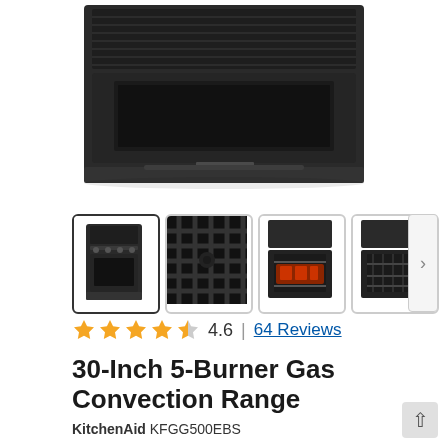[Figure (photo): Top-down/rear view of a KitchenAid black stainless steel gas range showing the top of the oven with a KitchenAid logo badge on the front]
[Figure (photo): Four product thumbnail images: (1) full range front view, (2) close-up of cast iron grates, (3) range with oven door open showing food inside, (4) range with oven door open showing empty interior]
4.6 | 64 Reviews
30-Inch 5-Burner Gas Convection Range
KitchenAid KFGG500EBS